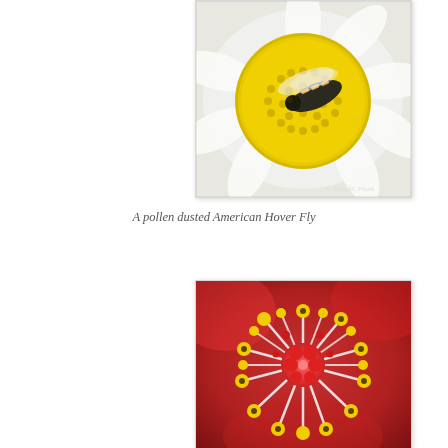[Figure (photo): Macro close-up photograph of a pollen-dusted American Hover Fly resting on a yellow-centered white daisy flower. The fly is in the center of the yellow disc florets. A watermark credit appears in the bottom-right corner.]
A pollen dusted American Hover Fly
[Figure (photo): Macro close-up photograph of a red and yellow flower's stamen cluster, showing red pistils and yellow-tipped stamens against a blurred red background.]